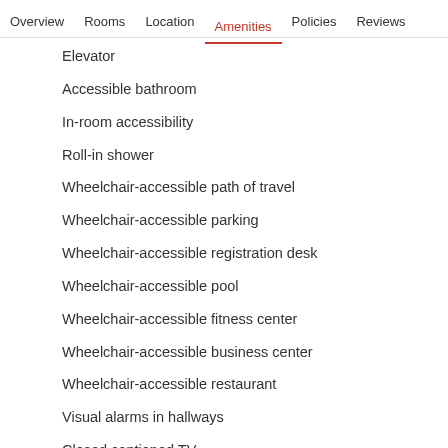Overview  Rooms  Location  Amenities  Policies  Reviews
Elevator
Accessible bathroom
In-room accessibility
Roll-in shower
Wheelchair-accessible path of travel
Wheelchair-accessible parking
Wheelchair-accessible registration desk
Wheelchair-accessible pool
Wheelchair-accessible fitness center
Wheelchair-accessible business center
Wheelchair-accessible restaurant
Visual alarms in hallways
Closed captioned TV
Lowered electrical outlets in bathroom
Lowered peephole/view port in door
Lowered locks/deadbolt